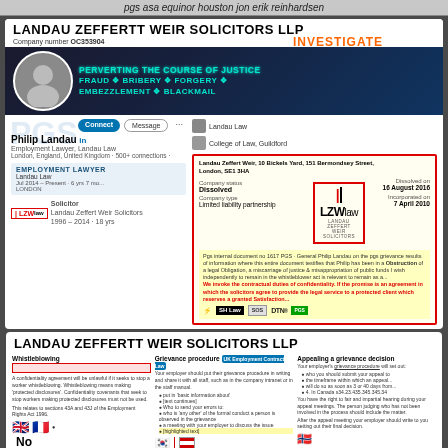pgs asa equinor houston jon erik reinhardsen
LANDAU ZEFFERTT WEIR SOLICITORS LLP
Company number OC353904
INVESTIGATE
[Figure (screenshot): LinkedIn profile screenshot of Philip Landau with overlaid text: PERVERTING THE COURSE OF JUSTICE, FRAUD, BRIBERY, FORGERY, EMBEZZLEMENT, BLACKMAIL in teal/green on dark background banner. PGS watermark visible. Companies House box showing LZW law logo, address Landau Zeffert Weir, 10 Bickels Yard, 151 Bermondsey Street, London SE1 3HA, Company status: Dissolved, Company type: Limited liability partnership, Dissolved on: 16 August 2016, Incorporated on: 7 April 2010.]
LANDAU ZEFFERTT WEIR SOLICITORS LLP
Whistleblowing section with grievance procedure and appealing a grievance decision. Flags visible: UK, France, South Korea, Norway, Portugal, Thailand. Note text beginning with 'No'
On Wednesday, October 19, 2016 3:24 PM, Philip Landau <pl@landaulaw.co.uk> wrote: